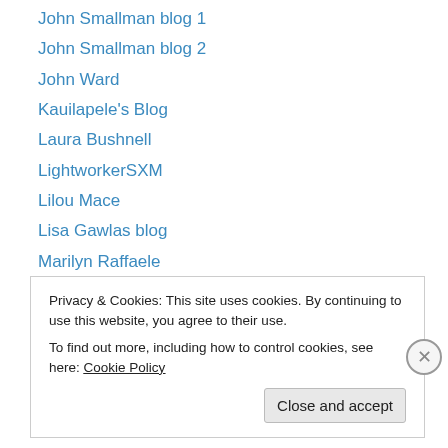John Smallman blog 1
John Smallman blog 2
John Ward
Kauilapele's Blog
Laura Bushnell
LightworkerSXM
Lilou Mace
Lisa Gawlas blog
Marilyn Raffaele
Marlene Swetlishoff
Méline Lafont
Méline Lafont New
One People's Public Trust 1776
Privacy & Cookies: This site uses cookies. By continuing to use this website, you agree to their use. To find out more, including how to control cookies, see here: Cookie Policy
Close and accept